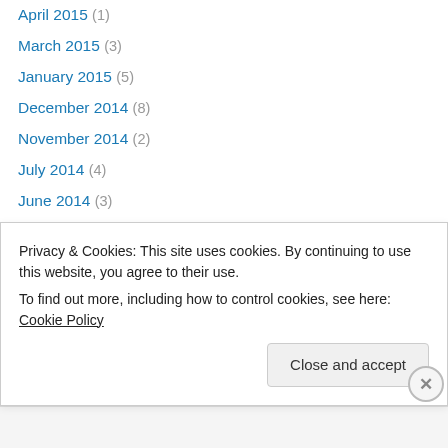April 2015 (1)
March 2015 (3)
January 2015 (5)
December 2014 (8)
November 2014 (2)
July 2014 (4)
June 2014 (3)
May 2014 (4)
April 2014 (5)
March 2014 (10)
February 2014 (13)
January 2014 (14)
December 2013 (13)
Privacy & Cookies: This site uses cookies. By continuing to use this website, you agree to their use. To find out more, including how to control cookies, see here: Cookie Policy
Close and accept